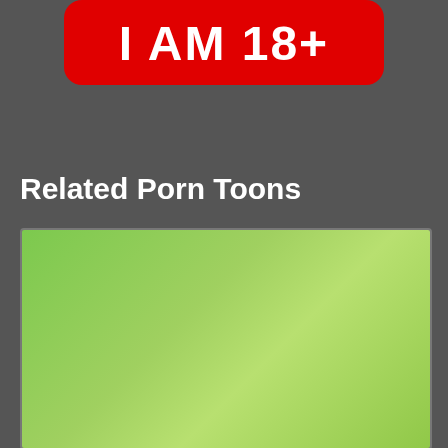[Figure (screenshot): Red button with white bold text reading 'I AM 18+' on a dark gray background]
Related Porn Toons
[Figure (illustration): Comic panel showing a cartoon Morty-like character with wide eyes and open mouth with speech bubble saying 'ISN'T THERE A WAY TO STOP THIS?!'. Watermark reads 'WWW.PATREON.COM/VERCOMICSPERRO'. Logo text 'VERCOMICSPERRO' at bottom.]